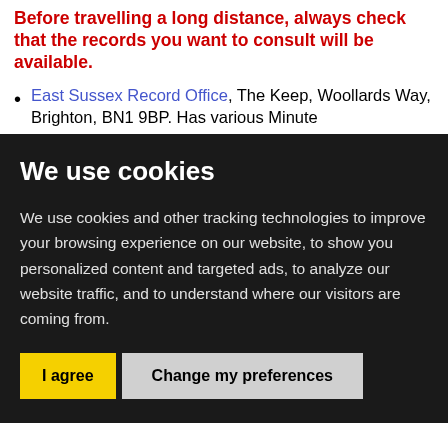Before travelling a long distance, always check that the records you want to consult will be available.
East Sussex Record Office, The Keep, Woollards Way, Brighton, BN1 9BP. Has various Minute...
We use cookies
We use cookies and other tracking technologies to improve your browsing experience on our website, to show you personalized content and targeted ads, to analyze our website traffic, and to understand where our visitors are coming from.